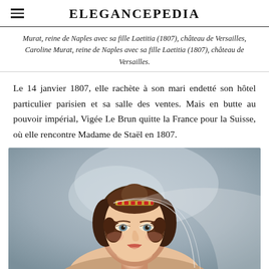ELEGANCEPEDIA
Murat, reine de Naples avec sa fille Laetitia (1807), château de Versailles, Caroline Murat, reine de Naples avec sa fille Laetitia (1807), château de Versailles.
Le 14 janvier 1807, elle rachète à son mari endetté son hôtel particulier parisien et sa salle des ventes. Mais en butte au pouvoir impérial, Vigée Le Brun quitte la France pour la Suisse, où elle rencontre Madame de Staël en 1807.
[Figure (photo): Portrait painting of a young woman with brown curly hair, wearing a red/gold tiara and a white veil, painted in a classical style with a soft grey-blue background.]